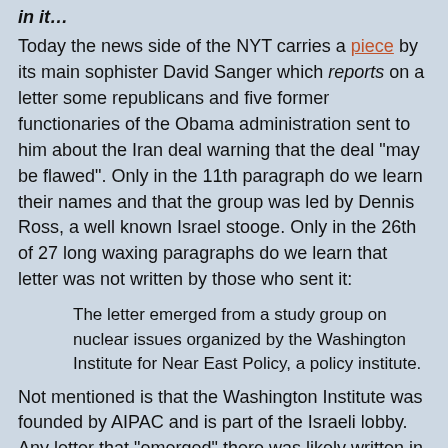in it…
Today the news side of the NYT carries a piece by its main sophister David Sanger which reports on a letter some republicans and five former functionaries of the Obama administration sent to him about the Iran deal warning that the deal "may be flawed". Only in the 11th paragraph do we learn their names and that the group was led by Dennis Ross, a well known Israel stooge. Only in the 26th of 27 long waxing paragraphs do we learn that letter was not written by those who sent it:
The letter emerged from a study group on nuclear issues organized by the Washington Institute for Near East Policy, a policy institute.
Not mentioned is that the Washington Institute was founded by AIPAC and is part of the Israeli lobby. Any letter that "emerged" there was likely written in Tel Aviv.
That the NYT now seems to run against any reasonable deal is suspicious. The paper is often the pre-publishing administration outlet spiked by background talks to "announce" official administration positions before they become official. I regard its